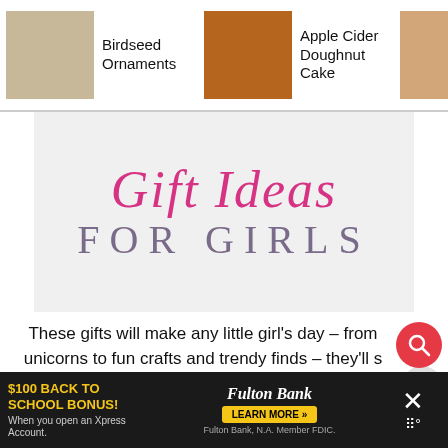Birdseed Ornaments | Apple Cider Doughnut Cake | Sheet Pan Tacos
[Figure (photo): Hero image with cursive pink 'Gift Ideas' and sans-serif purple 'FOR GIRLS' text on light gray background]
These gifts will make any little girl's day – from unicorns to fun crafts and trendy finds – they'll s ear to ear when they unwrap any of these gifts. If you have a little girl who has lots of birthday par for her friends, these Great Gifts for Girls Ideas wi
$100 BACK TO SCHOOL BONUS! When you open an Xpress Account. Fulton Bank LEARN MORE »